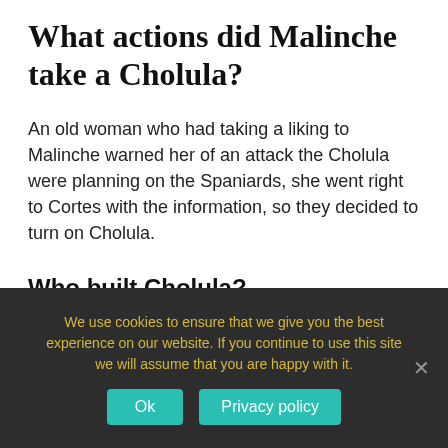What actions did Malinche take a Cholula?
An old woman who had taking a liking to Malinche warned her of an attack the Cholula were planning on the Spaniards, she went right to Cortes with the information, so they decided to turn on Cholula.
Who built Cholula?
We use cookies to ensure that we give you the best experience on our website. If you continue to use this site we will assume that you are happy with it.